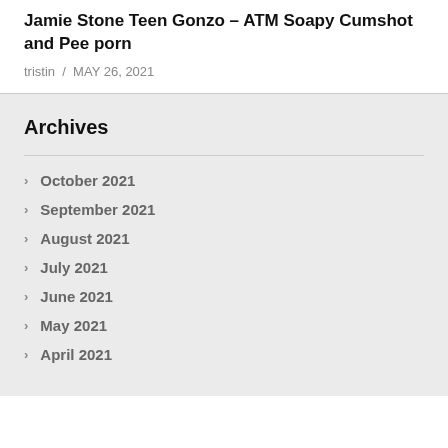Jamie Stone Teen Gonzo – ATM Soapy Cumshot and Pee porn
tristin / MAY 26, 2021
Archives
October 2021
September 2021
August 2021
July 2021
June 2021
May 2021
April 2021